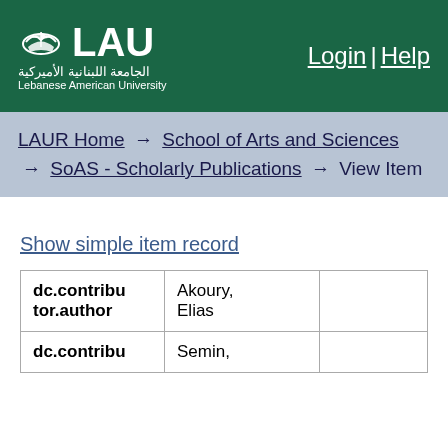[Figure (logo): Lebanese American University (LAU) logo with ship icon and Arabic/English text on dark green header background]
Login | Help
LAUR Home → School of Arts and Sciences → SoAS - Scholarly Publications → View Item
Show simple item record
| Field | Value |  |
| --- | --- | --- |
| dc.contributor.author | Akoury, Elias |  |
| dc.contribu | Semin, |  |